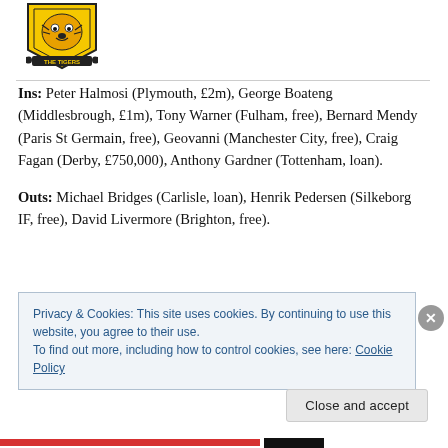[Figure (logo): Hull City AFC 'The Tigers' crest logo in black and gold]
Ins: Peter Halmosi (Plymouth, £2m), George Boateng (Middlesbrough, £1m), Tony Warner (Fulham, free), Bernard Mendy (Paris St Germain, free), Geovanni (Manchester City, free), Craig Fagan (Derby, £750,000), Anthony Gardner (Tottenham, loan).
Outs: Michael Bridges (Carlisle, loan), Henrik Pedersen (Silkeborg IF, free), David Livermore (Brighton, free).
Privacy & Cookies: This site uses cookies. By continuing to use this website, you agree to their use.
To find out more, including how to control cookies, see here: Cookie Policy
Close and accept